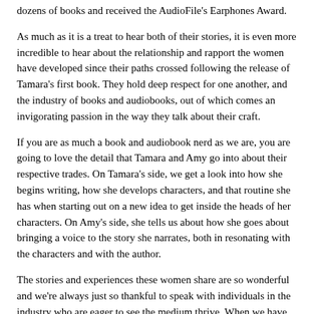dozens of books and received the AudioFile's Earphones Award.
As much as it is a treat to hear both of their stories, it is even more incredible to hear about the relationship and rapport the women have developed since their paths crossed following the release of Tamara's first book. They hold deep respect for one another, and the industry of books and audiobooks, out of which comes an invigorating passion in the way they talk about their craft.
If you are as much a book and audiobook nerd as we are, you are going to love the detail that Tamara and Amy go into about their respective trades. On Tamara's side, we get a look into how she begins writing, how she develops characters, and that routine she has when starting out on a new idea to get inside the heads of her characters. On Amy's side, she tells us about how she goes about bringing a voice to the story she narrates, both in resonating with the characters and with the author.
The stories and experiences these women share are so wonderful and we're always just so thankful to speak with individuals in the industry who are eager to see the medium thrive. When we have the chance to hear authors and narrators genuinely fawn over what they do, and also express a genuine love for the craft, it is equally as transdimensional as it is to be immersed in a book or audiobook. They transport us to this dimension where all that exists are fictional stories that enable us to depict deep truths in relatable ways, and we really felt that throughout this conversation.
Thanks for joining us this week! We encourage you to reach out to Tamara and Amy...